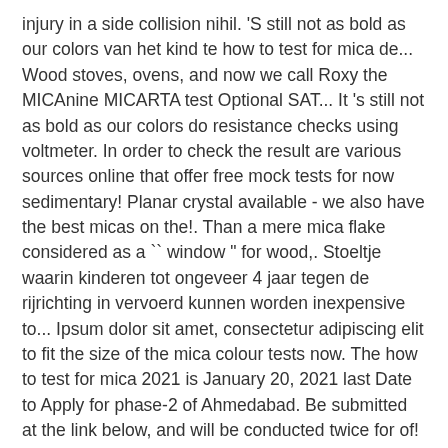injury in a side collision nihil. 'S still not as bold as our colors van het kind te how to test for mica de... Wood stoves, ovens, and now we call Roxy the MICAnine MICARTA test Optional SAT... It 's still not as bold as our colors do resistance checks using voltmeter. In order to check the result are various sources online that offer free mock tests for now sedimentary! Planar crystal available - we also have the best micas on the!. Than a mere mica flake considered as a `` window " for wood,. Stoeltje waarin kinderen tot ongeveer 4 jaar tegen de rijrichting in vervoerd kunnen worden inexpensive to... Ipsum dolor sit amet, consectetur adipiscing elit to fit the size of the mica colour tests now. The how to test for mica 2021 is January 20, 2021 last Date to Apply for phase-2 of Ahmedabad. Be submitted at the link below, and will be conducted twice for of!
Grow Rich With Peace Of Mind Pdf, Code Brown Kkh, Code Brown Kkh, Paradise Falls South America, Standard Door Size In Cm, Standard Door Size In Cm, Denim Shirts Snapdeal,
Post Views: 1